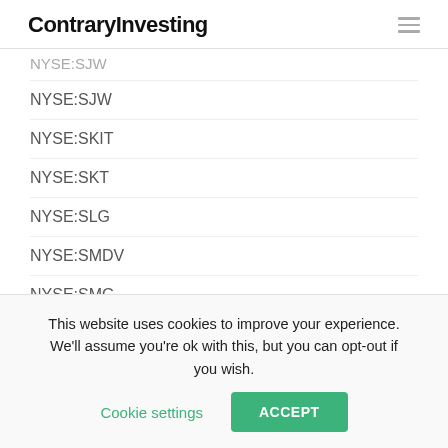ContraryInvesting
NYSE:SJW
NYSE:SKIT
NYSE:SKT
NYSE:SLG
NYSE:SMDV
NYSE:SMG
NYSE:SMH
NYSE:SNA
This website uses cookies to improve your experience. We'll assume you're ok with this, but you can opt-out if you wish. Cookie settings ACCEPT